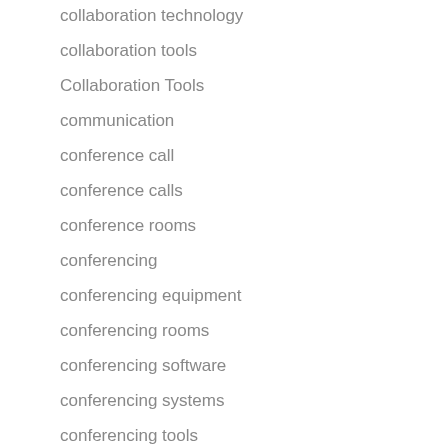collaboration
collaboration technology
collaboration tools
Collaboration Tools
communication
conference call
conference calls
conference rooms
conferencing
conferencing equipment
conferencing rooms
conferencing software
conferencing systems
conferencing tools
corporate meeting room